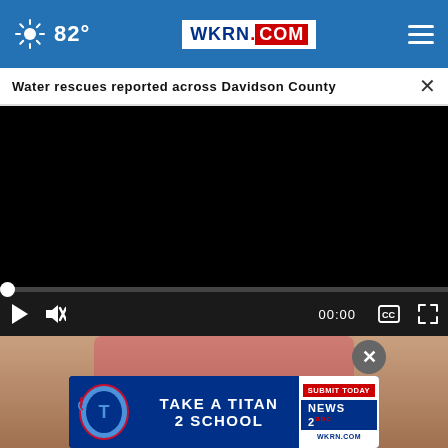82° WKRN.COM
Water rescues reported across Davidson County ×
[Figure (screenshot): Black video player with scrubber bar showing 00:00, play button, mute button, captions button, and fullscreen button on dark control bar]
[Figure (photo): Partial photo of person in pink clothing, with a Tennessee Titans 'Take A Titan 2 School - Submit Today - News 2 WKRN.COM' advertisement banner overlaid]